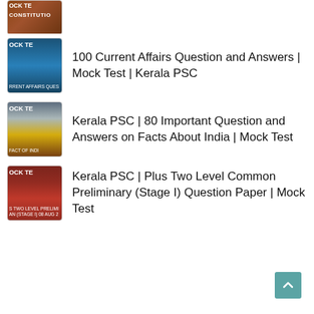[Figure (screenshot): Partially visible thumbnail for a Constitution mock test - OCK TE / CONSTITUTIO visible]
[Figure (screenshot): Thumbnail for 100 Current Affairs Question and Answers Mock Test Kerala PSC - blue ocean background with OCK TE / RRENT AFFAIRS QUES text]
100 Current Affairs Question and Answers | Mock Test | Kerala PSC
[Figure (screenshot): Thumbnail for Kerala PSC 80 Important Question and Answers on Facts About India Mock Test - gateway of india image with OCK TE / FACT OF INDI]
Kerala PSC | 80 Important Question and Answers on Facts About India | Mock Test
[Figure (screenshot): Thumbnail for Kerala PSC Plus Two Level Common Preliminary Stage I Question Paper Mock Test - colorful stones background with OCK TE / S TWO LEVEL PRELIMI / AN (STAGE I) 08 AUG 2]
Kerala PSC | Plus Two Level Common Preliminary (Stage I) Question Paper | Mock Test